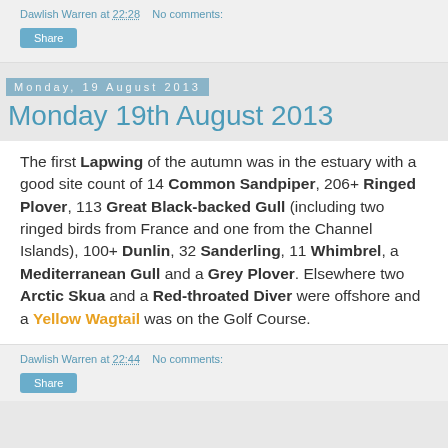Dawlish Warren at 22:28   No comments:
Monday, 19 August 2013
Monday 19th August 2013
The first Lapwing of the autumn was in the estuary with a good site count of 14 Common Sandpiper, 206+ Ringed Plover, 113 Great Black-backed Gull (including two ringed birds from France and one from the Channel Islands), 100+ Dunlin, 32 Sanderling, 11 Whimbrel, a Mediterranean Gull and a Grey Plover. Elsewhere two Arctic Skua and a Red-throated Diver were offshore and a Yellow Wagtail was on the Golf Course.
Dawlish Warren at 22:44   No comments: